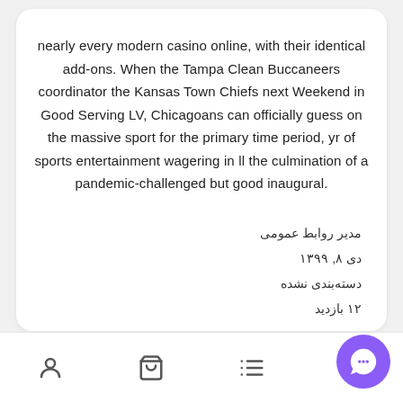nearly every modern casino online, with their identical add-ons. When the Tampa Clean Buccaneers coordinator the Kansas Town Chiefs next Weekend in Good Serving LV, Chicagoans can officially guess on the massive sport for the primary time period, yr of sports entertainment wagering in ll the culmination of a pandemic-challenged but good inaugural.
مدیر روابط عمومی
دی ۸, ۱۳۹۹
دسته‌بندی نشده
۱۲ بازدید